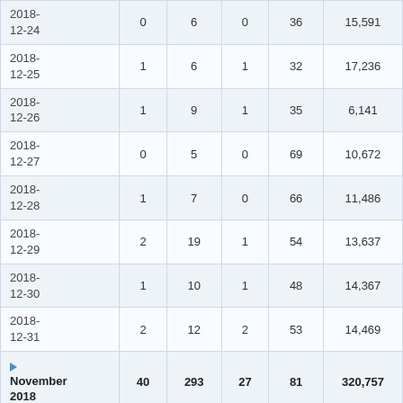| Date | Col1 | Col2 | Col3 | Col4 | Col5 |
| --- | --- | --- | --- | --- | --- |
| 2018-12-24 | 0 | 6 | 0 | 36 | 15,591 |
| 2018-12-25 | 1 | 6 | 1 | 32 | 17,236 |
| 2018-12-26 | 1 | 9 | 1 | 35 | 6,141 |
| 2018-12-27 | 0 | 5 | 0 | 69 | 10,672 |
| 2018-12-28 | 1 | 7 | 0 | 66 | 11,486 |
| 2018-12-29 | 2 | 19 | 1 | 54 | 13,637 |
| 2018-12-30 | 1 | 10 | 1 | 48 | 14,367 |
| 2018-12-31 | 2 | 12 | 2 | 53 | 14,469 |
| ▶ November 2018 | 40 | 293 | 27 | 81 | 320,757 |
| ▶ October 2018 | 51 | 453 | 21 | 77 | 407,825 |
| ▶ |  |  |  |  |  |